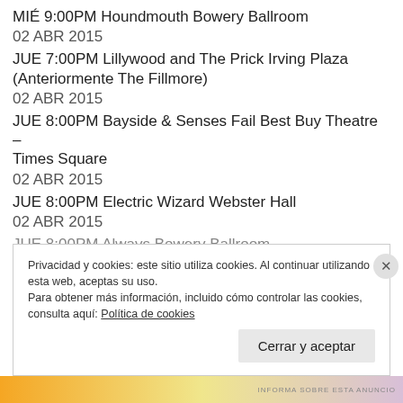MIÉ 9:00PM Houndmouth Bowery Ballroom
02 ABR 2015
JUE 7:00PM Lillywood and The Prick Irving Plaza (Anteriormente The Fillmore)
02 ABR 2015
JUE 8:00PM Bayside & Senses Fail Best Buy Theatre – Times Square
02 ABR 2015
JUE 8:00PM Electric Wizard Webster Hall
02 ABR 2015
JUE 8:00PM Always Bowery Ballroom
Privacidad y cookies: este sitio utiliza cookies. Al continuar utilizando esta web, aceptas su uso. Para obtener más información, incluido cómo controlar las cookies, consulta aquí: Política de cookies